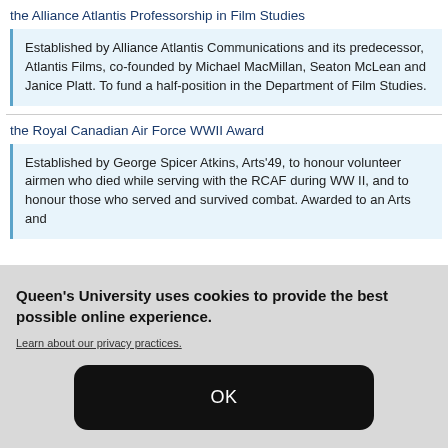the Alliance Atlantis Professorship in Film Studies
Established by Alliance Atlantis Communications and its predecessor, Atlantis Films, co-founded by Michael MacMillan, Seaton McLean and Janice Platt. To fund a half-position in the Department of Film Studies.
the Royal Canadian Air Force WWII Award
Established by George Spicer Atkins, Arts'49, to honour volunteer airmen who died while serving with the RCAF during WW II, and to honour those who served and survived combat. Awarded to an Arts and
Queen's University uses cookies to provide the best possible online experience.
Learn about our privacy practices.
OK